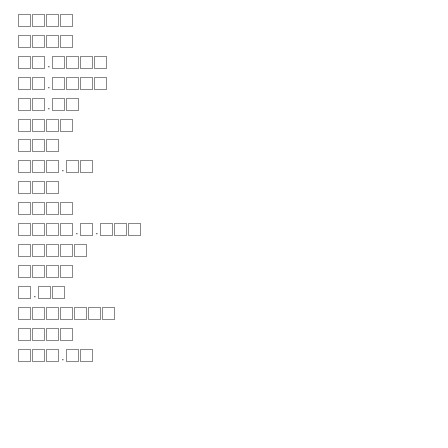□□□□
□□□□
□□·□□□□
□□·□□□□
□□·□□
□□□□
□□□
□□□·□□
□□□
□□□□
□□□□·□·□□□
□□□□□
□□□□
□·□□
□□□□□□□
□□□□
□□□·□□